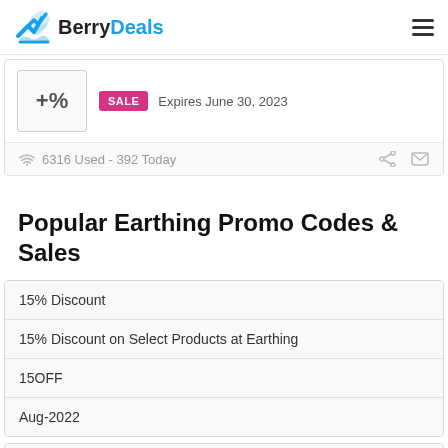BerryDeals
SALE   Expires June 30, 2023
6316 Used - 392 Today
Popular Earthing Promo Codes & Sales
15% Discount
15% Discount on Select Products at Earthing
15OFF
Aug-2022
10% Discount